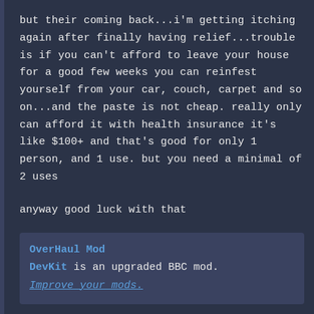but their coming back...i'm getting itching again after finally having relief...trouble is if you can't afford to leave your house for a good few weeks you can reinfest yourself from your car, couch, carpet and so on...and the paste is not cheap. really only can afford it with health insurance it's like $100+ and that's good for only 1 person, and 1 use. but you need a minimal of 2 uses

anyway good luck with that
OverHaul Mod
DevKit is an upgraded BBC mod.
Improve your mods.